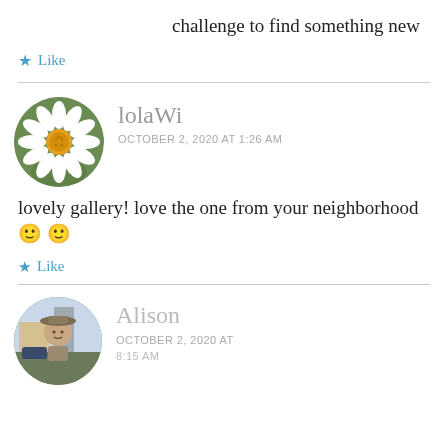challenge to find something new
★ Like
[Figure (photo): Circular avatar photo of a daisy flower with white petals and yellow center, green background]
lolaWi
OCTOBER 2, 2020 AT 1:26 AM
lovely gallery! love the one from your neighborhood 🙂 🙂
★ Like
[Figure (photo): Circular avatar photo of a woman named Alison wearing a hat, outdoors]
Alison
OCTOBER 2, 2020 AT